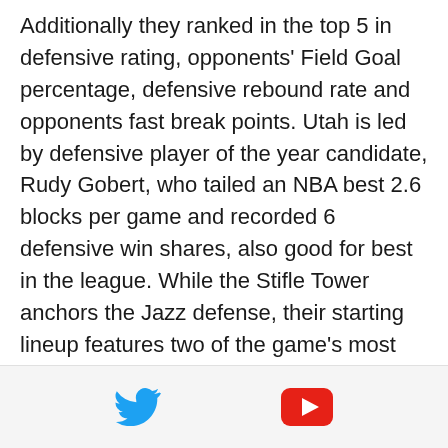Additionally they ranked in the top 5 in defensive rating, opponents' Field Goal percentage, defensive rebound rate and opponents fast break points. Utah is led by defensive player of the year candidate, Rudy Gobert, who tailed an NBA best 2.6 blocks per game and recorded 6 defensive win shares, also good for best in the league. While the Stifle Tower anchors the Jazz defense, their starting lineup features two of the game's most accomplished perimeter defenders in George Hill and Gordon Hayward, both who finished in the top 10 in defensive win shares (according to NBA.com) this
[Figure (other): Footer bar with Twitter bird icon and YouTube play button icon]